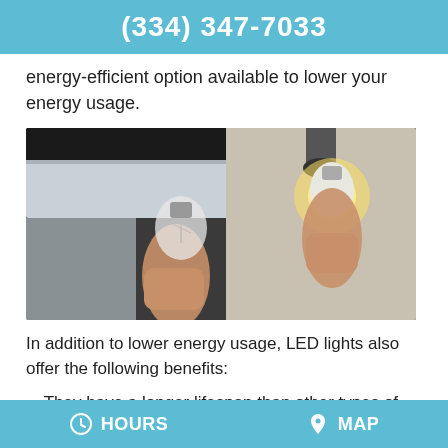(334) 347-7033
energy-efficient option available to lower your energy usage.
[Figure (photo): Two hands holding light bulbs near a ceiling fixture — one holding a clear incandescent bulb and the other holding an illuminated LED bulb]
In addition to lower energy usage, LED lights also offer the following benefits:
They have a longer lifespan than other types of bulbs — on average 40 times longer than
HOURS   MAP